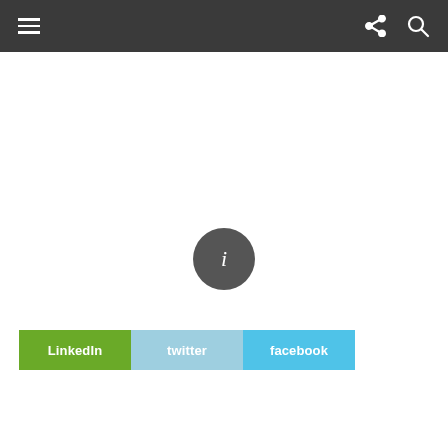Navigation bar with menu, share, and search icons
[Figure (other): Info button circle icon with letter i in the center of the page]
LinkedIn  twitter  facebook